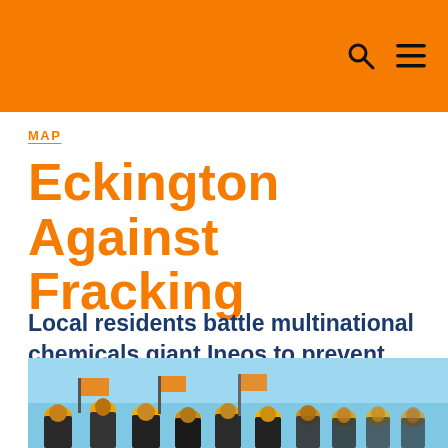MAP
Eckington Against Fracking
Local residents battle multinational chemicals giant Ineos to prevent fracking.
[Figure (photo): Crowd of protesters with yellow hats and banners against a blue sky]